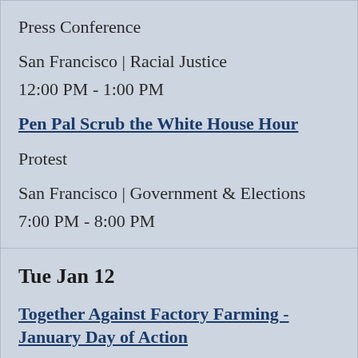Press Conference
San Francisco | Racial Justice
12:00 PM - 1:00 PM
Pen Pal Scrub the White House Hour
Protest
San Francisco | Government & Elections
7:00 PM - 8:00 PM
Tue Jan 12
Together Against Factory Farming - January Day of Action